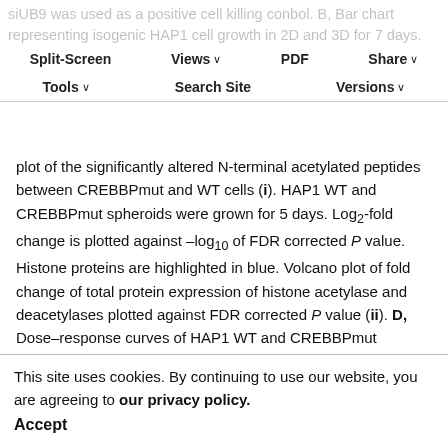siUB9 was used as a positive cell killing conbol. B, Bar chart representing isogenic HAP1 cell growth in 2D and 3D for 7 days. Representative bright-field images of WT and CREBBPmut spheroids are also shown. *, P < 0.05; ***, P < 0.0001. C, Volcano plot of the significantly altered N-terminal acetylated peptides between CREBBPmut and WT cells (i). HAP1 WT and CREBBPmut spheroids were grown for 5 days. Log₂-fold change is plotted against –log₁₀ of FDR corrected P value. Histone proteins are highlighted in blue. Volcano plot of fold change of total protein expression of histone acetylase and deacetylases plotted against FDR corrected P value (ii). D, Dose–response curves of HAP1 WT and CREBBPmut spheroids treated with increasing concentrations of HDAC inhibitors, tricostatin A (TSA) and vorinostat for 5 days. E, Single-cell RNA sequencing analysis after 7 days of growth.
This site uses cookies. By continuing to use our website, you are agreeing to our privacy policy.
Accept